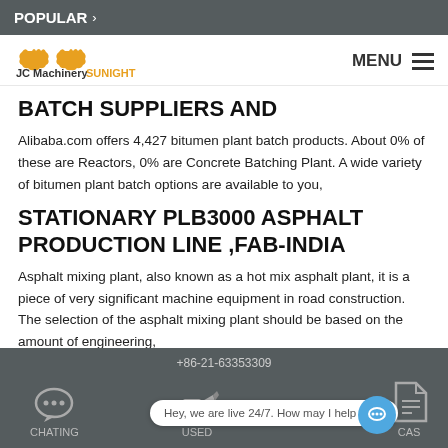POPULAR >
[Figure (logo): JC Machinery SUNIGHT logo with orange gear icons]
BATCH SUPPLIERS AND
Alibaba.com offers 4,427 bitumen plant batch products. About 0% of these are Reactors, 0% are Concrete Batching Plant. A wide variety of bitumen plant batch options are available to you,
STATIONARY PLB3000 ASPHALT PRODUCTION LINE ,FAB-INDIA
Asphalt mixing plant, also known as a hot mix asphalt plant, it is a piece of very significant machine equipment in road construction. The selection of the asphalt mixing plant should be based on the amount of engineering,
+86-21-63353309  CHATING  USED  CASE  Hey, we are live 24/7. How may I help you?